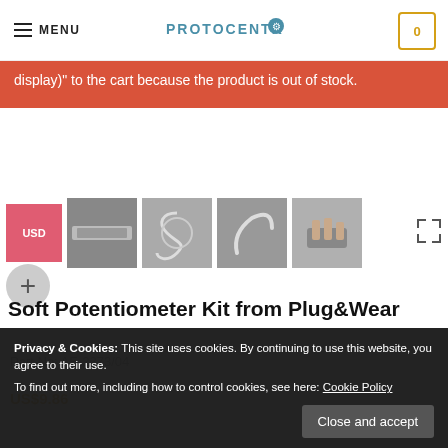MENU | PROTOCENTRAL | 0
display)" to the cart because the product is out of stock.
[Figure (screenshot): Four product thumbnail images of a soft potentiometer kit: close-up of sensor strip, coiled cable, curved strip on gray background, hands holding the product]
Soft Potentiometer Kit from Plug&Wear
Part No: AE-2273/04
Privacy & Cookies: This site uses cookies. By continuing to use this website, you agree to their use.
To find out more, including how to control cookies, see here: Cookie Policy
US$9.86